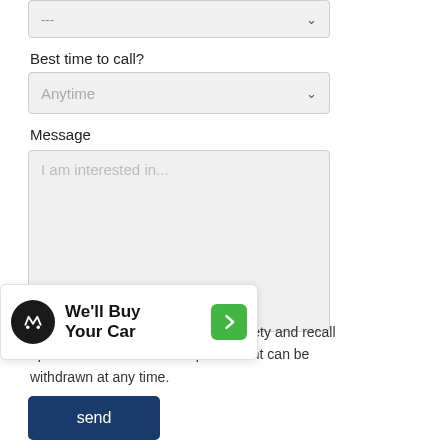---
Best time to call?
Anytime
Message
I am interested in...
[Figure (screenshot): We'll Buy Your Car promotional overlay card with green arrow button]
ve periodical offers, newsletter, safety and recall updates from the dealership. Consent can be withdrawn at any time.
send